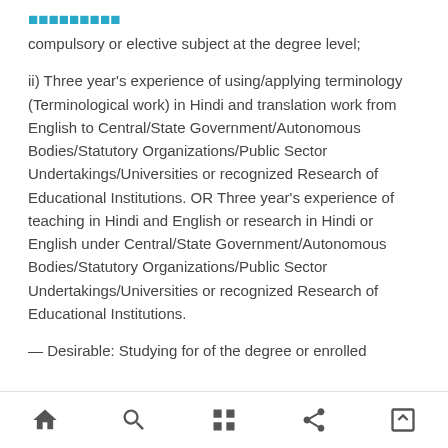[partially visible header text in teal/blue]
compulsory or elective subject at the degree level;
ii) Three year's experience of using/applying terminology (Terminological work) in Hindi and translation work from English to Central/State Government/Autonomous Bodies/Statutory Organizations/Public Sector Undertakings/Universities or recognized Research of Educational Institutions. OR Three year's experience of teaching in Hindi and English or research in Hindi or English under Central/State Government/Autonomous Bodies/Statutory Organizations/Public Sector Undertakings/Universities or recognized Research of Educational Institutions.
[partially visible text cut off at bottom]
Navigation bar with home, search, grid, share, and fullscreen icons